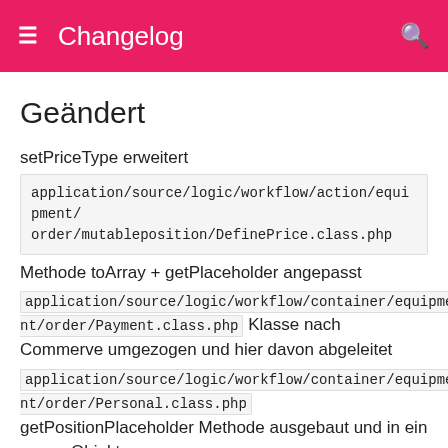Changelog
Geändert
setPriceType erweitert
application/source/logic/workflow/action/equipment/order/mutableposition/DefinePrice.class.php
Methode toArray + getPlaceholder angepasst
application/source/logic/workflow/container/equipment/order/Payment.class.php  Klasse nach Commerve umgezogen und hier davon abgeleitet
application/source/logic/workflow/container/equipment/order/Personal.class.php  getPositionPlaceholder Methode ausgebaut und in ein neues Objekt umgezogen
application/source/logic/workflow/container/equipment/order/VolatilePositions.class.php  weiter entwickelt